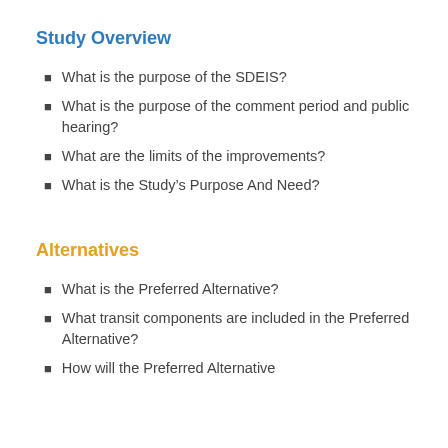Study Overview
What is the purpose of the SDEIS?
What is the purpose of the comment period and public hearing?
What are the limits of the improvements?
What is the Study's Purpose And Need?
Alternatives
What is the Preferred Alternative?
What transit components are included in the Preferred Alternative?
How will the Preferred Alternative